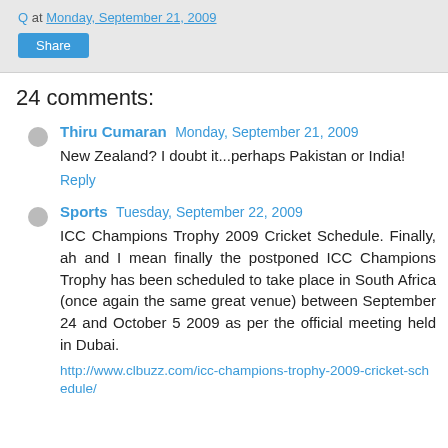Q at Monday, September 21, 2009
Share
24 comments:
Thiru Cumaran  Monday, September 21, 2009
New Zealand? I doubt it...perhaps Pakistan or India!
Reply
Sports  Tuesday, September 22, 2009
ICC Champions Trophy 2009 Cricket Schedule. Finally, ah and I mean finally the postponed ICC Champions Trophy has been scheduled to take place in South Africa (once again the same great venue) between September 24 and October 5 2009 as per the official meeting held in Dubai.
http://www.clbuzz.com/icc-champions-trophy-2009-cricket-schedule/